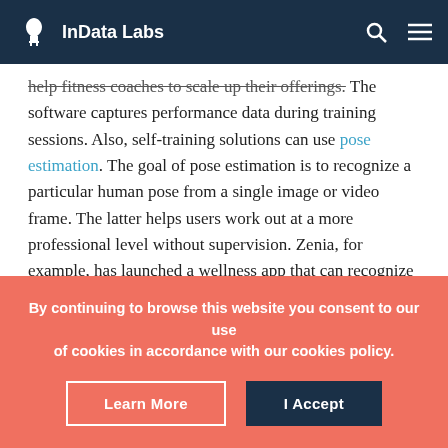InData Labs
help fitness coaches to scale up their offerings. The software captures performance data during training sessions. Also, self-training solutions can use pose estimation. The goal of pose estimation is to recognize a particular human pose from a single image or video frame. The latter helps users work out at a more professional level without supervision. Zenia, for example, has launched a wellness app that can recognize yoga asanas with 95% accuracy.
By continuing to browse this website you consent to our use of cookies in accordance with our cookies policy.
Learn More
I Accept